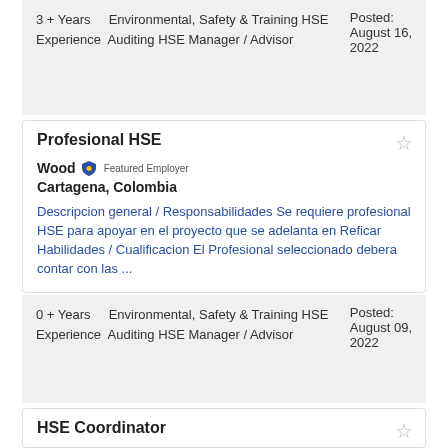3 + Years    Environmental, Safety & Training HSE Experience    Auditing HSE Manager / Advisor    Posted: August 16, 2022
Profesional HSE
Wood  Featured Employer
Cartagena, Colombia
Descripcion general / Responsabilidades Se requiere profesional HSE para apoyar en el proyecto que se adelanta en Reficar Habilidades / Cualificacion El Profesional seleccionado debera contar con las ...
0 + Years    Environmental, Safety & Training HSE Experience    Auditing HSE Manager / Advisor    Posted: August 09, 2022
HSE Coordinator
Schlumberger  Featured Employer
Edmonton, Canada